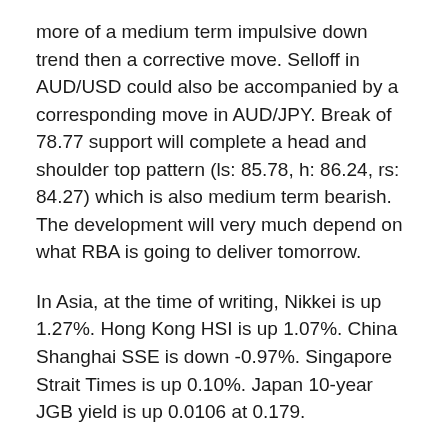more of a medium term impulsive down trend then a corrective move. Selloff in AUD/USD could also be accompanied by a corresponding move in AUD/JPY. Break of 78.77 support will complete a head and shoulder top pattern (ls: 85.78, h: 86.24, rs: 84.27) which is also medium term bearish. The development will very much depend on what RBA is going to deliver tomorrow.
In Asia, at the time of writing, Nikkei is up 1.27%. Hong Kong HSI is up 1.07%. China Shanghai SSE is down -0.97%. Singapore Strait Times is up 0.10%. Japan 10-year JGB yield is up 0.0106 at 0.179.
Fed Bostic comfortable with 50bps or if data support
Atlanta Fed President Bostic Bostic said his on ET...